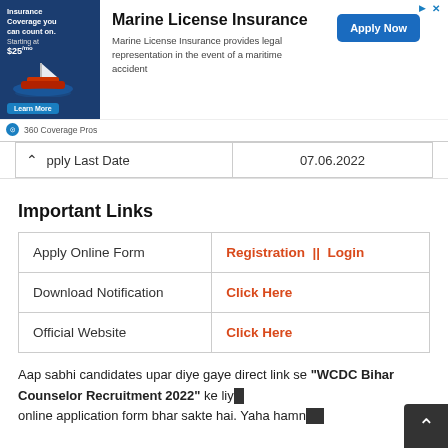[Figure (infographic): Marine License Insurance advertisement banner with a boat image on blue background, title 'Marine License Insurance', description text, Apply Now button, and 360 Coverage Pros logo]
| Apply Last Date | 07.06.2022 |
Important Links
| Apply Online Form | Registration || Login |
| Download Notification | Click Here |
| Official Website | Click Here |
Aap sabhi candidates upar diye gaye direct link se "WCDC Bihar Counselor Recruitment 2022" ke liye online application form bhar sakte hai. Yaha hamne